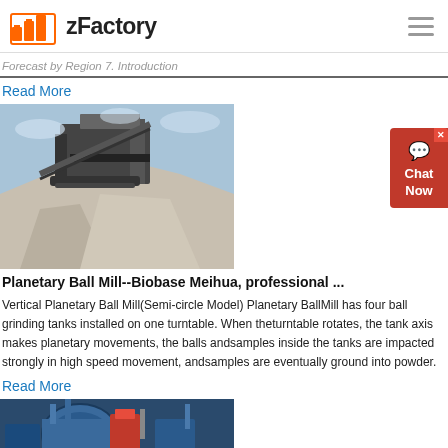zFactory
Forecast by Region 7. Introduction
Read More
[Figure (photo): Industrial crushing/screening equipment with large pile of crushed stone aggregate in foreground, blue sky background]
Planetary Ball Mill--Biobase Meihua, professional ...
Vertical Planetary Ball Mill(Semi-circle Model) Planetary BallMill has four ball grinding tanks installed on one turntable. When theturntable rotates, the tank axis makes planetary movements, the balls andsamples inside the tanks are impacted strongly in high speed movement, andsamples are eventually ground into powder.
Read More
[Figure (photo): Industrial machinery, blue and red equipment, aerial or close-up view of large industrial plant components]